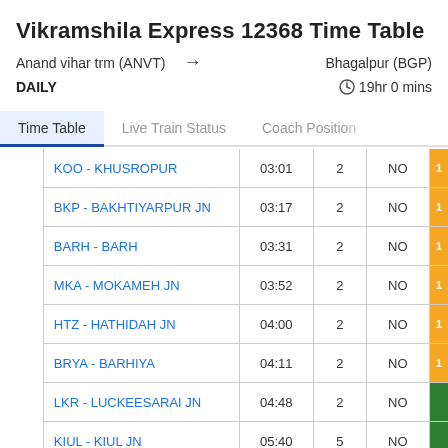Vikramshila Express 12368 Time Table
Anand vihar trm (ANVT) → Bhagalpur (BGP)
DAILY  ⏱ 19hr 0 mins
Time Table | Live Train Status | Coach Position
| Station | Time | Halt | Day |  |
| --- | --- | --- | --- | --- |
| KOO - KHUSROPUR | 03:01 | 2 | NO | 1 |
| BKP - BAKHTIYARPUR JN | 03:17 | 2 | NO | 1 |
| BARH - BARH | 03:31 | 2 | NO | 1 |
| MKA - MOKAMEH JN | 03:52 | 2 | NO | 1 |
| HTZ - HATHIDAH JN | 04:00 | 2 | NO | 1 |
| BRYA - BARHIYA | 04:11 | 2 | NO | 1 |
| LKR - LUCKEESARAI JN | 04:48 | 2 | NO |  |
| KIUL - KIUL JN | 05:40 | 5 | NO |  |
| KJH - KAJRA | 06:04 | 2 | NO |  |